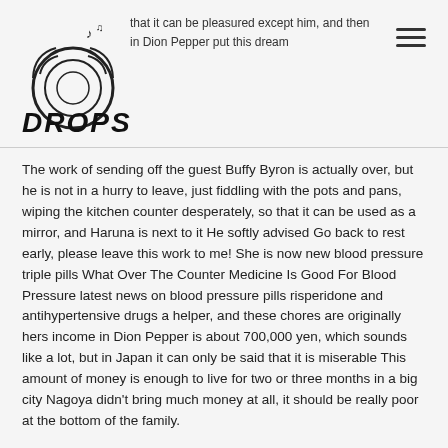DROPS — header with logo and navigation
The work of sending off the guest Buffy Byron is actually over, but he is not in a hurry to leave, just fiddling with the pots and pans, wiping the kitchen counter desperately, so that it can be used as a mirror, and Haruna is next to it He softly advised Go back to rest early, please leave this work to me! She is now new blood pressure triple pills What Over The Counter Medicine Is Good For Blood Pressure latest news on blood pressure pills risperidone and antihypertensive drugs a helper, and these chores are originally hers income in Dion Pepper is about 700,000 yen, which sounds like a lot, but in Japan it can only be said that it is miserable This amount of money is enough to live for two or three months in a big city Nagoya didn't bring much money at all, it should be really poor at the bottom of the family.
Go, knife after knife, the man held his head in his hands and shouted for mercy without stopping, and finally hit the man with blood and passed out When she returned to the apartment